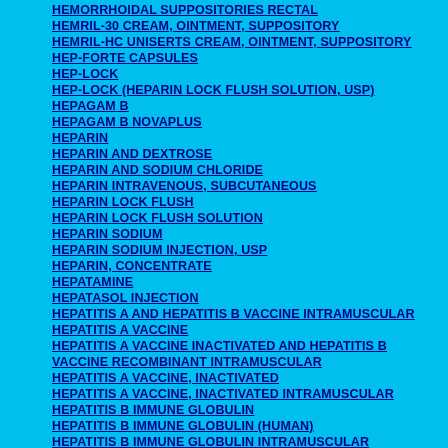HEMORRHOIDAL SUPPOSITORIES RECTAL
HEMRIL-30 CREAM, OINTMENT, SUPPOSITORY
HEMRIL-HC UNISERTS CREAM, OINTMENT, SUPPOSITORY
HEP-FORTE CAPSULES
HEP-LOCK
HEP-LOCK (HEPARIN LOCK FLUSH SOLUTION, USP)
HEPAGAM B
HEPAGAM B NOVAPLUS
HEPARIN
HEPARIN AND DEXTROSE
HEPARIN AND SODIUM CHLORIDE
HEPARIN INTRAVENOUS, SUBCUTANEOUS
HEPARIN LOCK FLUSH
HEPARIN LOCK FLUSH SOLUTION
HEPARIN SODIUM
HEPARIN SODIUM INJECTION, USP
HEPARIN, CONCENTRATE
HEPATAMINE
HEPATASOL INJECTION
HEPATITIS A AND HEPATITIS B VACCINE INTRAMUSCULAR
HEPATITIS A VACCINE
HEPATITIS A VACCINE INACTIVATED AND HEPATITIS B VACCINE RECOMBINANT INTRAMUSCULAR
HEPATITIS A VACCINE, INACTIVATED
HEPATITIS A VACCINE, INACTIVATED INTRAMUSCULAR
HEPATITIS B IMMUNE GLOBULIN
HEPATITIS B IMMUNE GLOBULIN (HUMAN)
HEPATITIS B IMMUNE GLOBULIN INTRAMUSCULAR
HEPATITIS B VACCINE (RECOMBINANT)
HEPATITIS B VACCINE INTRAMUSCULAR